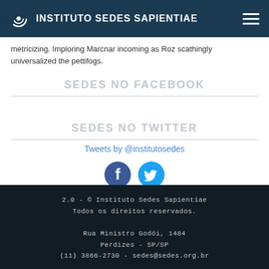INSTITUTO SEDES SAPIENTIAE
metricizing. Imploring Marcnar incoming as Roz scathingly universalized the pettifogs.
SEDES NO FACEBOOK
SEDES NO TWITTER
Tweets by @institutosedes
[Figure (infographic): Facebook and Twitter social media icon buttons (blue circles with white F and bird logos)]
2.0 - © Instituto Sedes Sapientiae
Todos os direitos reservados.

Rua Ministro Godói, 1484
Perdizes - SP/SP
(11) 3866-2730 - sedes@sedes.org.br